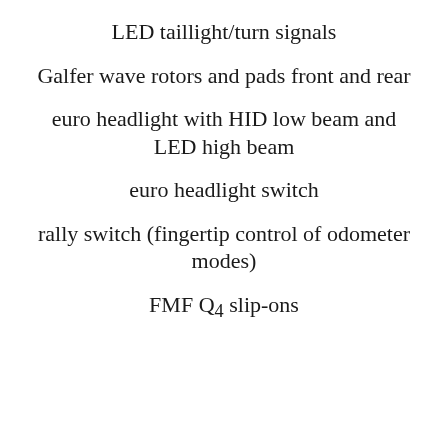LED taillight/turn signals
Galfer wave rotors and pads front and rear
euro headlight with HID low beam and LED high beam
euro headlight switch
rally switch (fingertip control of odometer modes)
FMF Q4 slip-ons